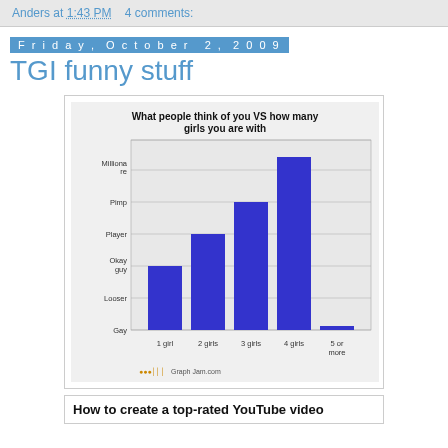Anders at 1:43 PM    4 comments:
Friday, October 2, 2009
TGI funny stuff
[Figure (bar-chart): What people think of you VS how many girls you are with]
How to create a top-rated YouTube video